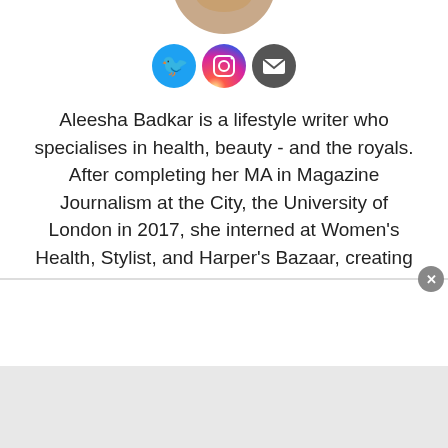[Figure (photo): Circular profile photo of Aleesha Badkar, partially visible at top center]
[Figure (illustration): Social media icons: Twitter (blue bird), Instagram (camera), Email (envelope)]
Aleesha Badkar is a lifestyle writer who specialises in health, beauty - and the royals. After completing her MA in Magazine Journalism at the City, the University of London in 2017, she interned at Women's Health, Stylist, and Harper's Bazaar, creating features and news pieces on health, beauty, and fitness, wellbeing, and food. She loves to practice what she preaches in her everyday life with copious amounts of herbal tea, Pilates, and hyaluronic